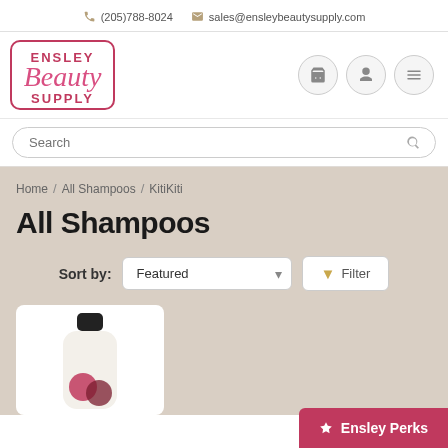(205)788-8024   sales@ensleybeautysupply.com
[Figure (logo): Ensley Beauty Supply logo with pink text and border]
All Shampoos
Home / All Shampoos / KitiKiti
[Figure (screenshot): Product image - shampoo bottle with black cap on white card background]
Ensley Perks